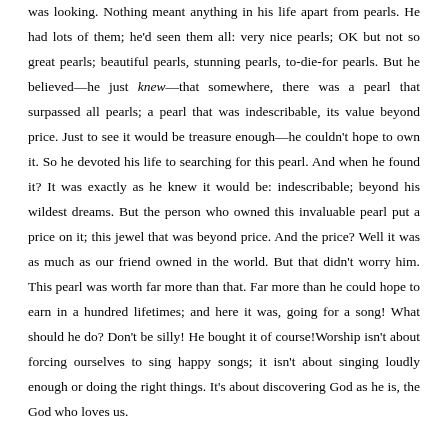was looking. Nothing meant anything in his life apart from pearls. He had lots of them; he'd seen them all: very nice pearls; OK but not so great pearls; beautiful pearls, stunning pearls, to-die-for pearls. But he believed—he just knew—that somewhere, there was a pearl that surpassed all pearls; a pearl that was indescribable, its value beyond price. Just to see it would be treasure enough—he couldn't hope to own it. So he devoted his life to searching for this pearl. And when he found it? It was exactly as he knew it would be: indescribable; beyond his wildest dreams. But the person who owned this invaluable pearl put a price on it; this jewel that was beyond price. And the price? Well it was as much as our friend owned in the world. But that didn't worry him. This pearl was worth far more than that. Far more than he could hope to earn in a hundred lifetimes; and here it was, going for a song! What should he do? Don't be silly! He bought it of course!Worship isn't about forcing ourselves to sing happy songs; it isn't about singing loudly enough or doing the right things. It's about discovering God as he is, the God who loves us.